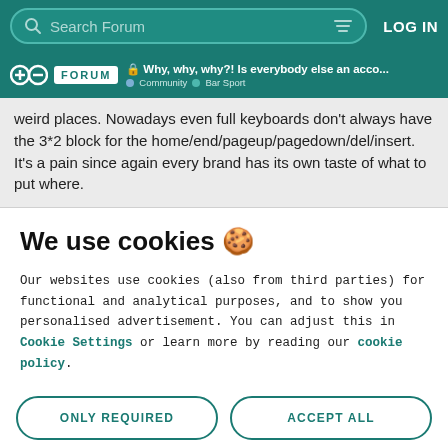Search Forum | LOG IN
Why, why, why?! Is everybody else an acco... | Community | Bar Sport
weird places. Nowadays even full keyboards don't always have the 3*2 block for the home/end/pageup/pagedown/del/insert. It's a pain since again every brand has its own taste of what to put where.
We use cookies 🍪
Our websites use cookies (also from third parties) for functional and analytical purposes, and to show you personalised advertisement. You can adjust this in Cookie Settings or learn more by reading our cookie policy.
ONLY REQUIRED
ACCEPT ALL